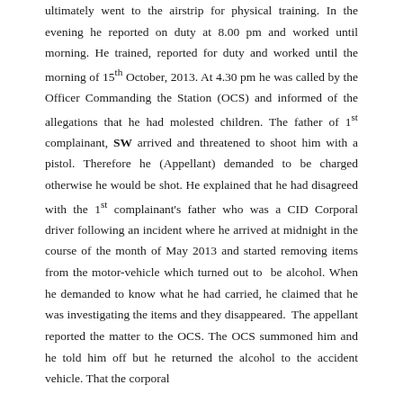ultimately went to the airstrip for physical training. In the evening he reported on duty at 8.00 pm and worked until morning. He trained, reported for duty and worked until the morning of 15th October, 2013. At 4.30 pm he was called by the Officer Commanding the Station (OCS) and informed of the allegations that he had molested children. The father of 1st complainant, SW arrived and threatened to shoot him with a pistol. Therefore he (Appellant) demanded to be charged otherwise he would be shot. He explained that he had disagreed with the 1st complainant's father who was a CID Corporal driver following an incident where he arrived at midnight in the course of the month of May 2013 and started removing items from the motor-vehicle which turned out to be alcohol. When he demanded to know what he had carried, he claimed that he was investigating the items and they disappeared. The appellant reported the matter to the OCS. The OCS summoned him and he told him off but he returned the alcohol to the accident vehicle. That the corporal